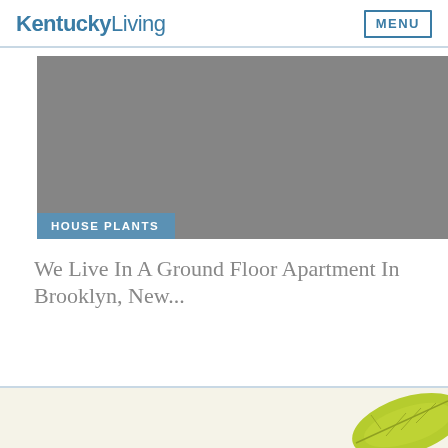KentuckyLiving   MENU
[Figure (photo): Gray placeholder image area with a blue 'HOUSE PLANTS' category tag at the bottom left]
We Live In A Ground Floor Apartment In Brooklyn, New...